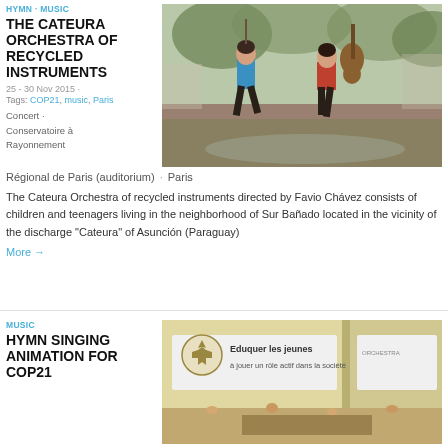HYMN · MUSIC
THE CATEURA ORCHESTRA OF RECYCLED INSTRUMENTS
25 - 30 Nov 2015 ·
Tags: COP21, music, Paris
Concert · Conservatoire à Rayonnement Régional de Paris (auditorium) · Paris
[Figure (photo): Two girls running and playing with musical instruments made of recycled materials in a muddy area]
The Cateura Orchestra of recycled instruments directed by Favio Chávez consists of children and teenagers living in the neighborhood of Sur Bañado located in the vicinity of the discharge "Cateura" of Asunción (Paraguay)
More →
MUSIC
HYMN SINGING ANIMATION FOR COP21
[Figure (photo): Indoor event with scouts banner reading 'Eduquer les jeunes à jouer un rôle actif dans la société']